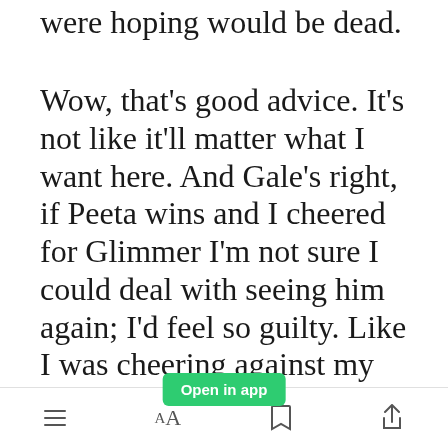were hoping would be dead.
Wow, that's good advice. It's not like it'll matter what I want here. And Gale's right, if Peeta wins and I cheered for Glimmer I'm not sure I could deal with seeing him again; I'd feel so guilty. Like I was cheering against my district and hoping a guy who came home died. I probably wouldn't see Gli...until the victory tour, but I'd still feel bad. I
[Figure (screenshot): Green 'Open in app' button overlay]
Menu | Font size | Bookmark | Share